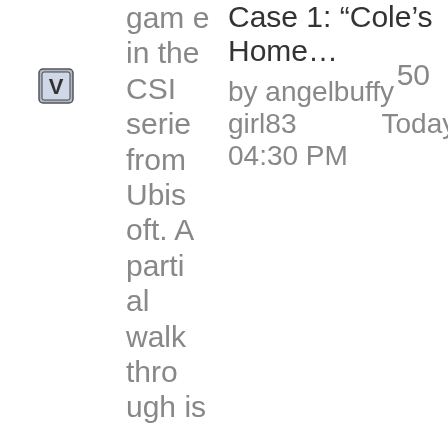[Figure (other): Small icon with a checkmark/V symbol in a dark square]
game in the CSI series from Ubisoft. A partial walkthrough is
Case 1: “Cole’s Home…
by angelbuffy girl83
Today 04:30 PM
50